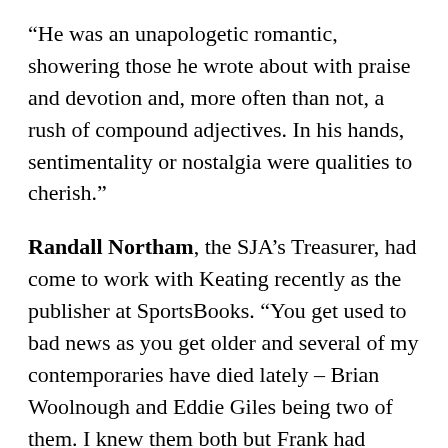“He was an unapologetic romantic, showering those he wrote about with praise and devotion and, more often than not, a rush of compound adjectives. In his hands, sentimentality or nostalgia were qualities to cherish.”
Randall Northam, the SJA’s Treasurer, had come to work with Keating recently as the publisher at SportsBooks. “You get used to bad news as you get older and several of my contemporaries have died lately – Brian Woolnough and Eddie Giles being two of them. I knew them both but Frank had become a friend over the last few years,” Northam writes.
“Frank wrote once ‘The ever diligent, off-beat SportsBooks’, and we thought that summed us up. Then he became someone we could check to test whether a book should be published. He also